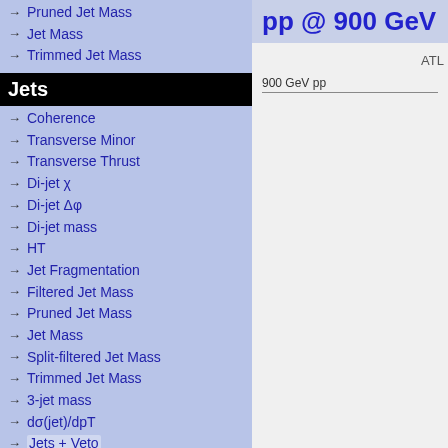→ Pruned Jet Mass
→ Jet Mass
→ Trimmed Jet Mass
Jets
→ Coherence
→ Transverse Minor
→ Transverse Thrust
→ Di-jet χ
→ Di-jet Δφ
→ Di-jet mass
→ HT
→ Jet Fragmentation
→ Filtered Jet Mass
→ Pruned Jet Mass
→ Jet Mass
→ Split-filtered Jet Mass
→ Trimmed Jet Mass
→ 3-jet mass
→ dσ(jet)/dpT
→ Jets + Veto
→ Jet Shapes
→ Jet Charge
→ Jet Substructure
pp @ 900 GeV
ATLA
900 GeV pp